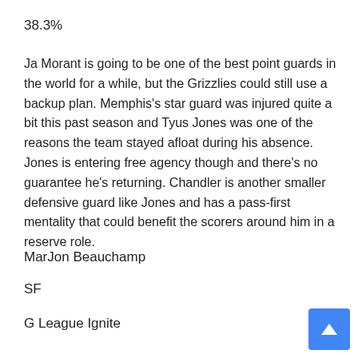38.3%
Ja Morant is going to be one of the best point guards in the world for a while, but the Grizzlies could still use a backup plan. Memphis’s star guard was injured quite a bit this past season and Tyus Jones was one of the reasons the team stayed afloat during his absence. Jones is entering free agency though and there’s no guarantee he’s returning. Chandler is another smaller defensive guard like Jones and has a pass-first mentality that could benefit the scorers around him in a reserve role.
MarJon Beauchamp
SF
G League Ignite